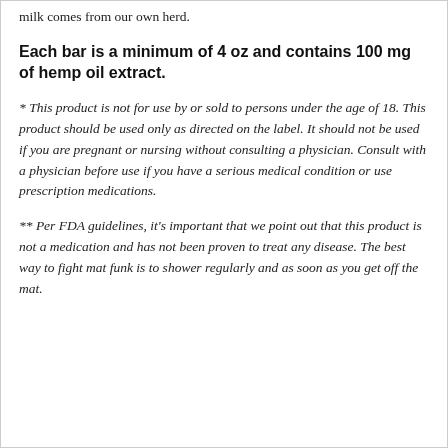milk comes from our own herd.
Each bar is a minimum of 4 oz and contains 100 mg of hemp oil extract.
* This product is not for use by or sold to persons under the age of 18. This product should be used only as directed on the label. It should not be used if you are pregnant or nursing without consulting a physician. Consult with a physician before use if you have a serious medical condition or use prescription medications.
** Per FDA guidelines, it's important that we point out that this product is not a medication and has not been proven to treat any disease. The best way to fight mat funk is to shower regularly and as soon as you get off the mat.